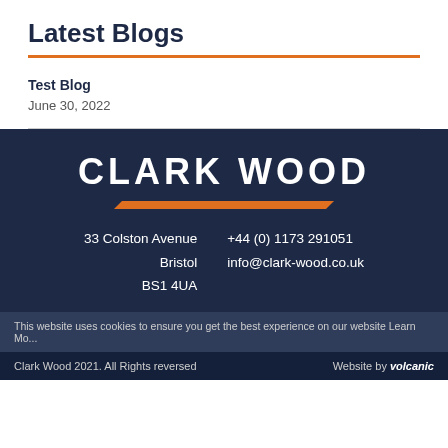Latest Blogs
Test Blog
June 30, 2022
[Figure (logo): Clark Wood company logo text in white bold uppercase letters on dark navy background, with orange decorative parallelogram bar beneath]
33 Colston Avenue
Bristol
BS1 4UA
+44 (0) 1173 291051
info@clark-wood.co.uk
This website uses cookies to ensure you get the best experience on our website Learn Mo...
Clark Wood 2021. All Rights reversed   Website by volcanic